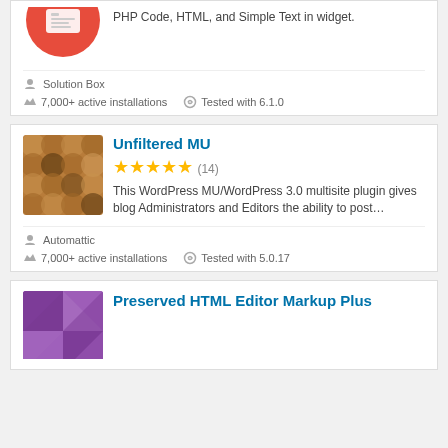[Figure (screenshot): Partial top card showing a red circular icon and plugin description text: PHP Code, HTML, and Simple Text in widget.]
PHP Code, HTML, and Simple Text in widget.
Solution Box
7,000+ active installations
Tested with 6.1.0
Unfiltered MU
[Figure (illustration): Brown hexagon/circle tile pattern plugin icon for Unfiltered MU]
★★★★★ (14)
This WordPress MU/WordPress 3.0 multisite plugin gives blog Administrators and Editors the ability to post…
Automattic
7,000+ active installations
Tested with 5.0.17
Preserved HTML Editor Markup Plus
[Figure (illustration): Purple geometric pattern plugin icon for Preserved HTML Editor Markup Plus]